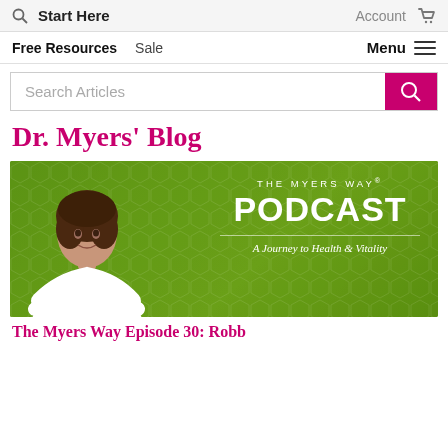🔍  Start Here   Account  🛒
Free Resources   Sale   Menu ≡
Search Articles
Dr. Myers' Blog
[Figure (illustration): The Myers Way Podcast banner with a woman in a white blouse and green background reading: THE MYERS WAY® PODCAST — A Journey to Health & Vitality]
The Myers Way Episode 30: Robb...